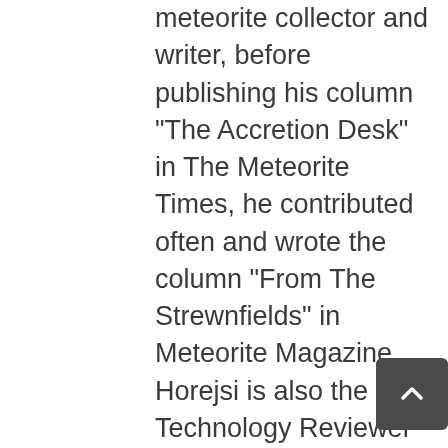meteorite collector and writer, before publishing his column "The Accretion Desk" in The Meteorite Times, he contributed often and wrote the column "From The Strewnfields" in Meteorite Magazine. Horejsi is also the Lead Technology Reviewer for The National Science Teaching Association, and just celebrated his 22th year working with NASA and the JPL in education and public outreach (EPO), and is a NASA Solar System Ambassador. Horejsi specializes in the collection and study of historic witnessed fall meteorites with the older, smaller, and rarer the better. Although his meteorite collection once numbered over a thousand